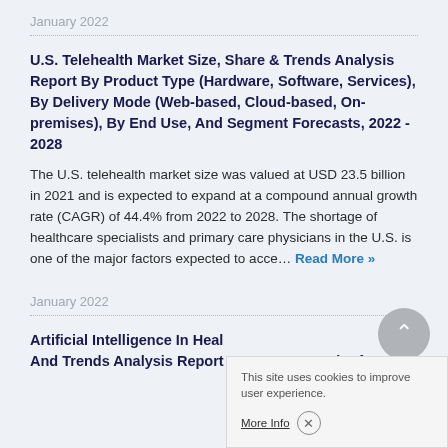January 2022
U.S. Telehealth Market Size, Share & Trends Analysis Report By Product Type (Hardware, Software, Services), By Delivery Mode (Web-based, Cloud-based, On-premises), By End Use, And Segment Forecasts, 2022 - 2028
The U.S. telehealth market size was valued at USD 23.5 billion in 2021 and is expected to expand at a compound annual growth rate (CAGR) of 44.4% from 2022 to 2028. The shortage of healthcare specialists and primary care physicians in the U.S. is one of the major factors expected to acce... Read More »
January 2022
Artificial Intelligence In Heal And Trends Analysis Report By Component (Software